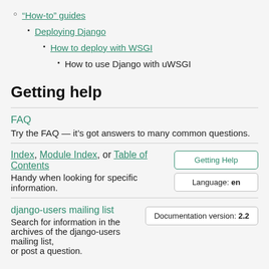"How-to" guides
Deploying Django
How to deploy with WSGI
How to use Django with uWSGI
Getting help
FAQ
Try the FAQ — it’s got answers to many common questions.
Index, Module Index, or Table of Contents
Handy when looking for specific information.
Getting Help
Language: en
django-users mailing list
Search for information in the archives of the django-users mailing list, or post a question.
Documentation version: 2.2